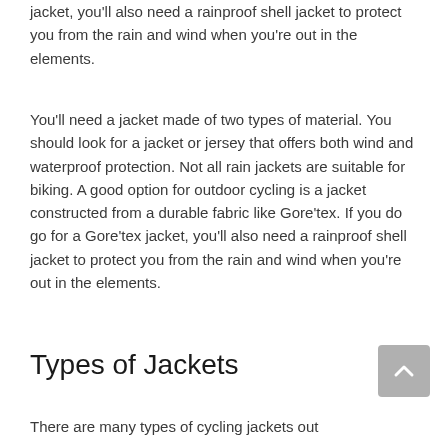jacket, you'll also need a rainproof shell jacket to protect you from the rain and wind when you're out in the elements.
You'll need a jacket made of two types of material. You should look for a jacket or jersey that offers both wind and waterproof protection. Not all rain jackets are suitable for biking. A good option for outdoor cycling is a jacket constructed from a durable fabric like Gore'tex. If you do go for a Gore'tex jacket, you'll also need a rainproof shell jacket to protect you from the rain and wind when you're out in the elements.
Types of Jackets
There are many types of cycling jackets out